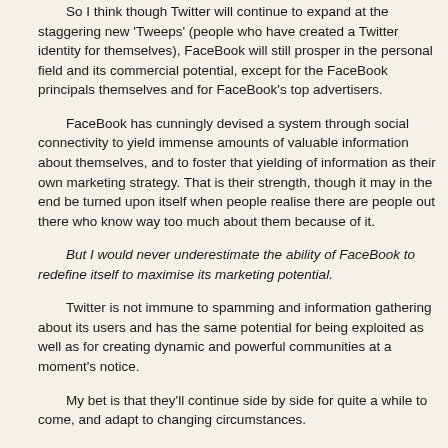So I think though Twitter will continue to expand at the staggering new 'Tweeps' (people who have created a Twitter identity for themselves), FaceBook will still prosper in the personal field and its commercial potential, except for the FaceBook principals themselves and for FaceBook's top advertisers.
FaceBook has cunningly devised a system through social connectivity to yield immense amounts of valuable information about themselves, and to foster that yielding of information as their own marketing strategy. That is their strength, though it may in the end be turned upon itself when people realise there are people out there who know way too much about them because of it.
But I would never underestimate the ability of FaceBook to redefine itself to maximise its marketing potential.
Twitter is not immune to spamming and information gathering about its users and has the same potential for being exploited as well as for creating dynamic and powerful communities at a moment's notice.
My bet is that they'll continue side by side for quite a while to come, and adapt to changing circumstances.